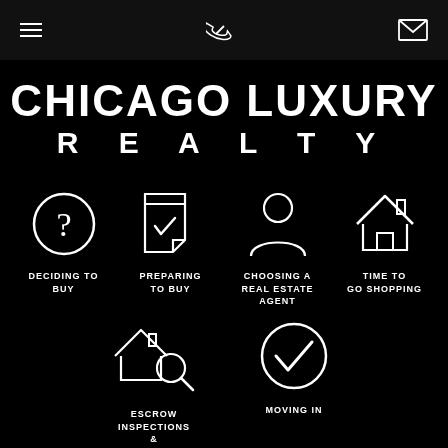≡ [phone] [mail]
CHICAGO LUXURY REALTY
[Figure (infographic): Four icons in a row: question mark circle (DECIDING TO BUY), checklist/document (PREPARING TO BUY), person silhouette (CHOOSING A REAL ESTATE AGENT), house (TIME TO GO SHOPPING)]
[Figure (infographic): Two icons in a row: house with magnifying glass (ESCROW INSPECTIONS & APPRAISALS), checkmark circle (MOVING IN)]